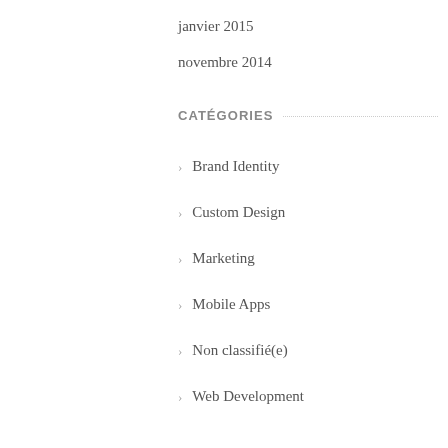janvier 2015
novembre 2014
CATÉGORIES
Brand Identity
Custom Design
Marketing
Mobile Apps
Non classifié(e)
Web Development
MÉTA
Connexion